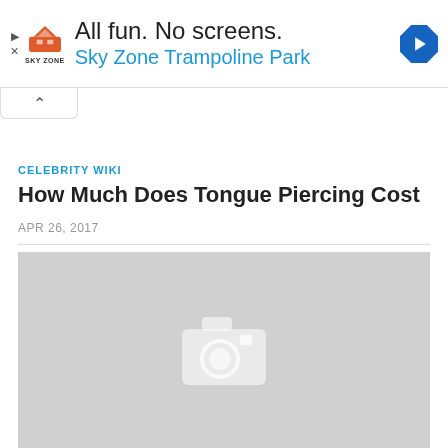[Figure (screenshot): Sky Zone Trampoline Park advertisement banner with logo, headline 'All fun. No screens.', subheadline 'Sky Zone Trampoline Park', and navigation icon]
CELEBRITY WIKI
How Much Does Tongue Piercing Cost
APR 26, 2017
[Figure (photo): Placeholder image with camera icon on gray background]